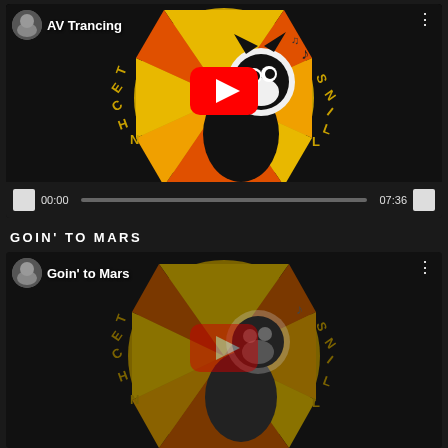[Figure (screenshot): YouTube-style video player showing AV Trancing video with Felix the Cat / Technicollins logo thumbnail. Play button overlay. Channel avatar top left.]
AV Trancing
00:00  07:36
GOIN' TO MARS
[Figure (screenshot): YouTube-style video thumbnail showing Goin' to Mars video with Felix the Cat / Technicollins logo. Dimmed play button. Channel avatar top left.]
Goin' to Mars